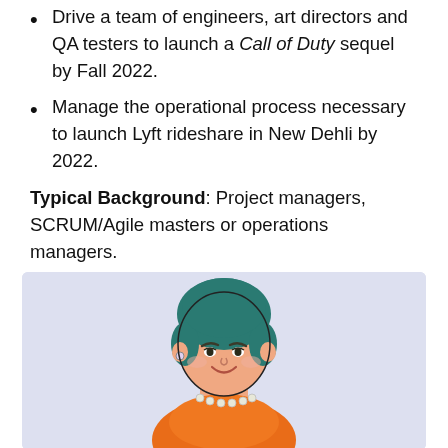Drive a team of engineers, art directors and QA testers to launch a Call of Duty sequel by Fall 2022.
Manage the operational process necessary to launch Lyft rideshare in New Dehli by 2022.
Typical Background: Project managers, SCRUM/Agile masters or operations managers.
Product Marketing Manager
[Figure (illustration): Cartoon illustration of a woman with teal hair wearing an orange top and pearl necklace, on a light purple/lavender background]